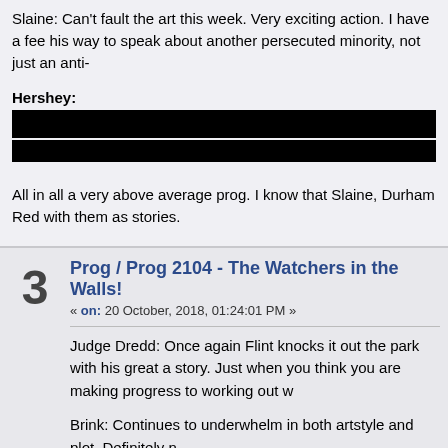Slaine: Can't fault the art this week. Very exciting action. I have a feel his way to speak about another persecuted minority, not just an anti-
Hershey: [REDACTED]
All in all a very above average prog. I know that Slaine, Durham Red with them as stories.
Prog / Prog 2104 - The Watchers in the Walls!
« on: 20 October, 2018, 01:24:01 PM »
Judge Dredd: Once again Flint knocks it out the park with his great a story. Just when you think you are making progress to working out w
Brink: Continues to underwhelm in both artstyle and plot. Definitely n
Fiends: There is just something about seeing a vampire ripping a wo
Skip Tracer: This got really weird, really quickly.
Kingdom: A lot of exposition in this episode. Still stellar artwork.
Prog / Prog 2103 - Romans of the mind...